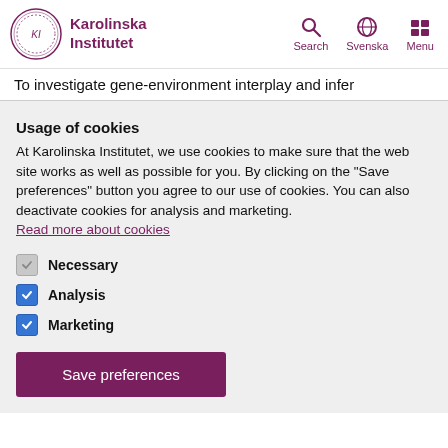Karolinska Institutet — Search, Svenska, Menu
To investigate gene-environment interplay and infer
Usage of cookies
At Karolinska Institutet, we use cookies to make sure that the web site works as well as possible for you. By clicking on the "Save preferences" button you agree to our use of cookies. You can also deactivate cookies for analysis and marketing.
Read more about cookies
Necessary
Analysis
Marketing
Save preferences